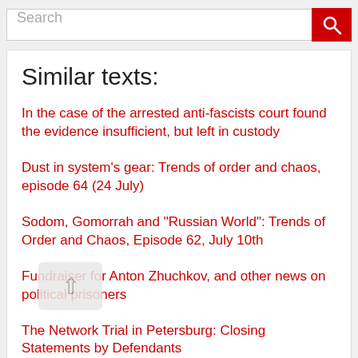[Figure (screenshot): Search bar with red search button icon]
Similar texts:
In the case of the arrested anti-fascists court found the evidence insufficient, but left in custody
Dust in system's gear: Trends of order and chaos, episode 64 (24 July)
Sodom, Gomorrah and "Russian World": Trends of Order and Chaos, Episode 62, July 10th
Fundraiser for Anton Zhuchkov, and other news on political prisoners
The Network Trial in Petersburg: Closing Statements by Defendants
Prisoners of Article 212: the story of Vlad Barabanov
Call for solidarity: another wave of arrests and torture against Russian anarchists